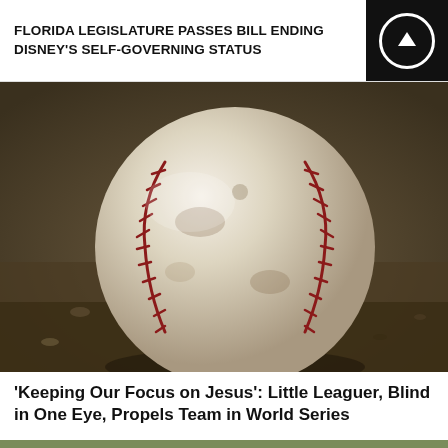FLORIDA LEGISLATURE PASSES BILL ENDING DISNEY'S SELF-GOVERNING STATUS
[Figure (photo): Close-up photo of a dirty, aged baseball resting on dirt/gravel ground, with red stitching visible]
'Keeping Our Focus on Jesus': Little Leaguer, Blind in One Eye, Propels Team in World Series
[Figure (photo): A man standing outdoors next to a wooden structure with a large circular parabolic dish or fan behind him, surrounded by scrubby trees and reddish dirt]